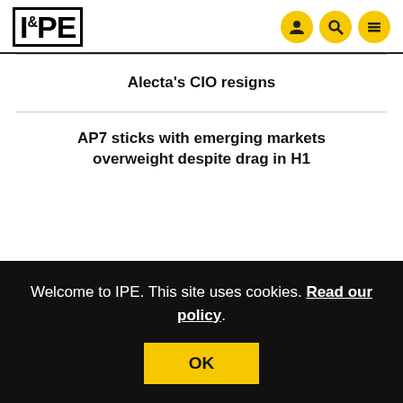IPE
Alecta's CIO resigns
AP7 sticks with emerging markets overweight despite drag in H1
Welcome to IPE. This site uses cookies. Read our policy.
Germany progresses with capital-funded component in pensions